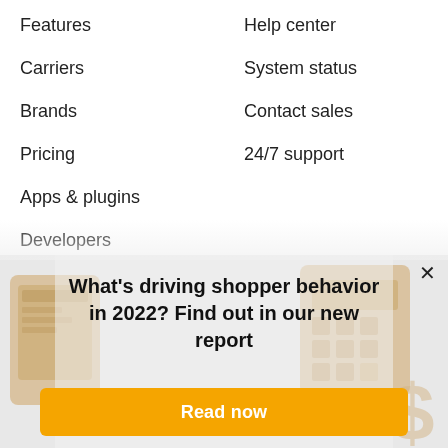Features
Help center
Carriers
System status
Brands
Contact sales
Pricing
24/7 support
Apps & plugins
Developers
Compare
[Figure (screenshot): A popup banner overlay with background illustration showing shopping/commerce icons (phone, calculator, dollar sign). Contains a headline and a call-to-action button.]
What's driving shopper behavior in 2022? Find out in our new report
Read now